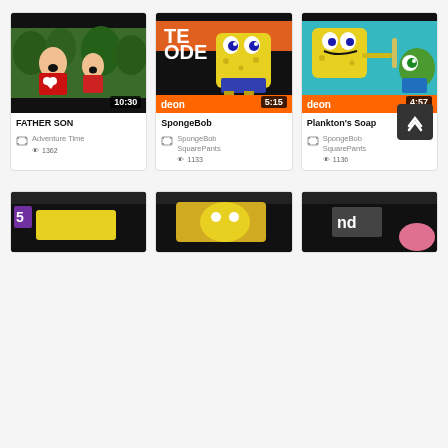[Figure (screenshot): Video thumbnail grid showing 3 video cards in top row and 3 partial thumbnails in bottom row. Top row: 1) FATHER SON video - man and child outdoors, 10:30 duration, Adventure Time channel, 1362 views. 2) SpongeBob video - SpongeBob cartoon character, 5:15 duration, SpongeBobSquarePants channel, 1133 views. 3) Plankton's Soap video - SpongeBob/Plankton cartoon, 4:57 duration, SpongeBobSquarePants channel, 1136 views. Bottom row shows partial thumbnails of 3 more videos.]